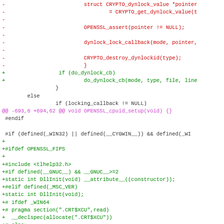[Figure (other): A unified diff / patch code snippet showing removed lines (in red) with CRYPTO_dynlock_value, CRYPTO_get_dynlock_value, OPENSSL_assert, dynlock_lock_callback, CRYPTO_destroy_dynlockid; added lines (in green) with do_dynlock_cb; context lines; hunk header (in magenta) @@ -693,6 +694,62 @@ void OPENSSL_cpuid_setup(void) {}; and more added lines with OPENSSL_FIPS, tlhelp32.h, DllInit, pragma section, __declspec, pragma data_seg.]